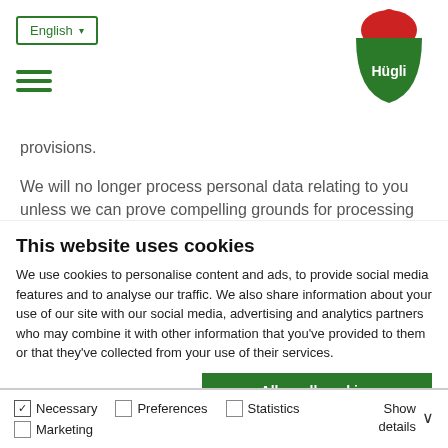English ▾ [hamburger menu] [Hügli logo]
provisions.
We will no longer process personal data relating to you unless we can prove compelling grounds for processing that
This website uses cookies
We use cookies to personalise content and ads, to provide social media features and to analyse our traffic. We also share information about your use of our site with our social media, advertising and analytics partners who may combine it with other information that you've provided to them or that they've collected from your use of their services.
Allow all cookies | Allow selection | Use necessary cookies only
Necessary  Preferences  Statistics  Marketing  Show details